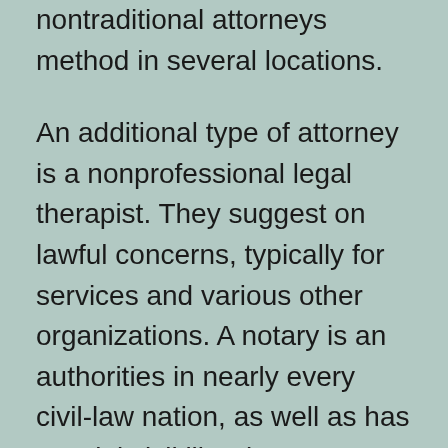nontraditional attorneys method in several locations.
An additional type of attorney is a nonprofessional legal therapist. They suggest on lawful concerns, typically for services and various other organizations. A notary is an authorities in nearly every civil-law nation, as well as has special civil liberties to conduct workplace job. A lawyer's income depends upon the sort of work that they do. Some lawyers operate in law office, while others practice secretive method. In all situations, nonetheless, lawyers are anticipated to